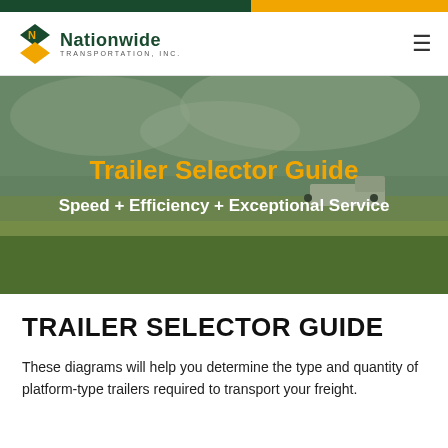[Figure (logo): Nationwide Transportation, Inc. logo with diamond-shaped green and gold icon and company name]
[Figure (photo): Wide landscape photo of a highway with a semi-truck and trailer crossing a flat open field under a cloudy sky, with green grass in the foreground]
Trailer Selector Guide
Speed + Efficiency + Exceptional Service
TRAILER SELECTOR GUIDE
These diagrams will help you determine the type and quantity of platform-type trailers required to transport your freight.